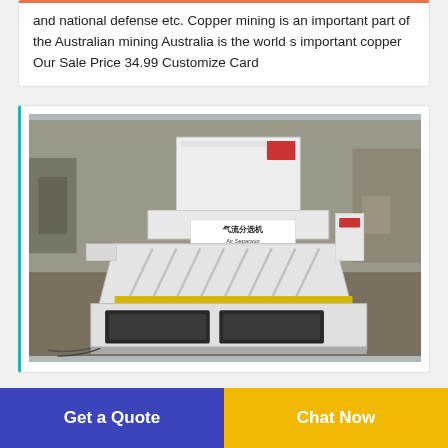and national defense etc. Copper mining is an important part of the Australian mining Australia is the world s important copper Our Sale Price 34.99 Customize Card
[Figure (photo): Photo of a white industrial air separator machine (气流分选机 / Air Separator) in a factory or warehouse setting. The machine is large, white-painted, with black-framed lower compartments and Chinese/English labeling on its body.]
Get a Quote
Chat Now